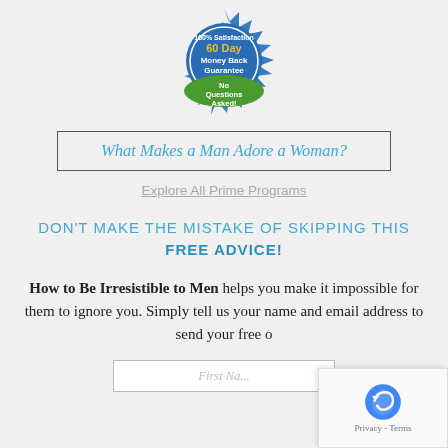[Figure (illustration): 100% Satisfaction 60 Day Money Back Guarantee No Questions Asked! badge/seal in blue and green]
What Makes a Man Adore a Woman?
Explore All Prime Programs
DON'T MAKE THE MISTAKE OF SKIPPING THIS FREE ADVICE!
How to Be Irresistible to Men helps you make it impossible for them to ignore you. Simply tell us your name and email address to send your free o...